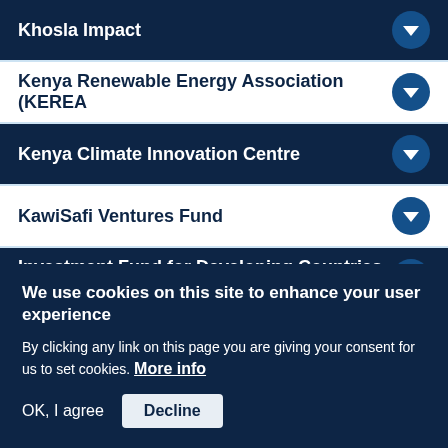Khosla Impact
Kenya Renewable Energy Association (KEREA
Kenya Climate Innovation Centre
KawiSafi Ventures Fund
Investment Fund for Developing Countries (I
Investisseurs & Partenaires (I&P)
We use cookies on this site to enhance your user experience
By clicking any link on this page you are giving your consent for us to set cookies. More info
OK, I agree   Decline